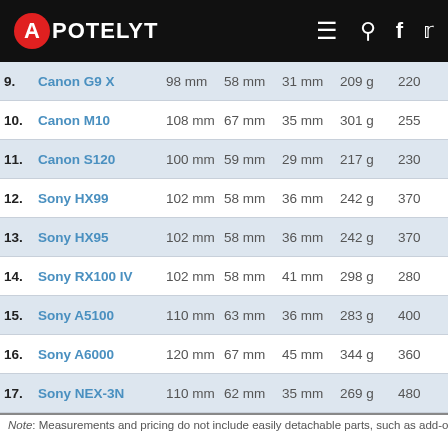APOTELYT
| # | Camera | Width | Height | Depth | Weight | Price |  |
| --- | --- | --- | --- | --- | --- | --- | --- |
| 9. | Canon G9 X | 98 mm | 58 mm | 31 mm | 209 g | 220 | ✕ |
| 10. | Canon M10 | 108 mm | 67 mm | 35 mm | 301 g | 255 | ✕ |
| 11. | Canon S120 | 100 mm | 59 mm | 29 mm | 217 g | 230 | ✕ |
| 12. | Sony HX99 | 102 mm | 58 mm | 36 mm | 242 g | 370 | ✕ |
| 13. | Sony HX95 | 102 mm | 58 mm | 36 mm | 242 g | 370 | ✕ |
| 14. | Sony RX100 IV | 102 mm | 58 mm | 41 mm | 298 g | 280 | ✕ |
| 15. | Sony A5100 | 110 mm | 63 mm | 36 mm | 283 g | 400 | ✕ |
| 16. | Sony A6000 | 120 mm | 67 mm | 45 mm | 344 g | 360 | ✕ |
| 17. | Sony NEX-3N | 110 mm | 62 mm | 35 mm | 269 g | 480 | ✕ |
Note: Measurements and pricing do not include easily detachable parts, such as add-on o…
The price is, of course, an important factor in any camera decision. The listed launch prices provide an indication of the market segment that the manufacturer of the cameras have been targeting. Usually, retail prices stay at first close…